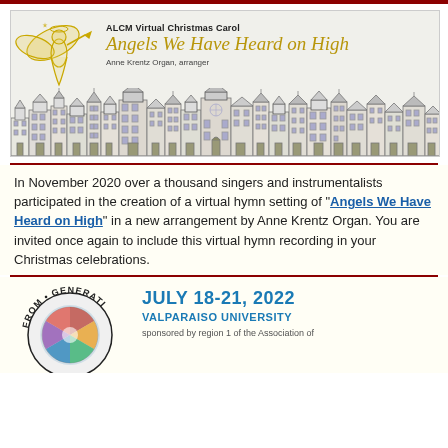[Figure (illustration): ALCM Virtual Christmas Carol banner with angel illustration, title 'Angels We Have Heard on High' in gold italic script, arranged by Anne Krentz Organ, with a cityscape of European-style buildings along the bottom]
In November 2020 over a thousand singers and instrumentalists participated in the creation of a virtual hymn setting of "Angels We Have Heard on High" in a new arrangement by Anne Krentz Organ. You are invited once again to include this virtual hymn recording in your Christmas celebrations.
[Figure (logo): Circular logo with text 'FROM • GENERATI...' around the edge and a stained glass window image in the center, for an event at Valparaiso University July 18-21, 2022]
JULY 18-21, 2022
VALPARAISO UNIVERSITY
sponsored by region 1 of the Association of